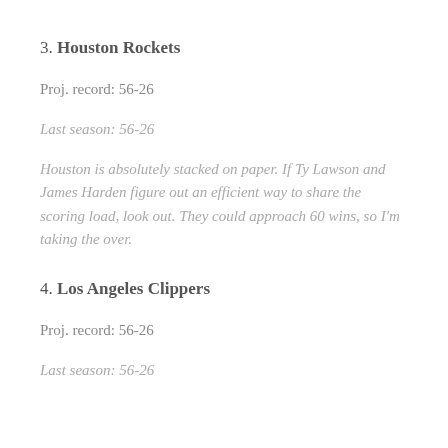3. Houston Rockets
Proj. record: 56-26
Last season: 56-26
Houston is absolutely stacked on paper. If Ty Lawson and James Harden figure out an efficient way to share the scoring load, look out. They could approach 60 wins, so I'm taking the over.
4. Los Angeles Clippers
Proj. record: 56-26
Last season: 56-26